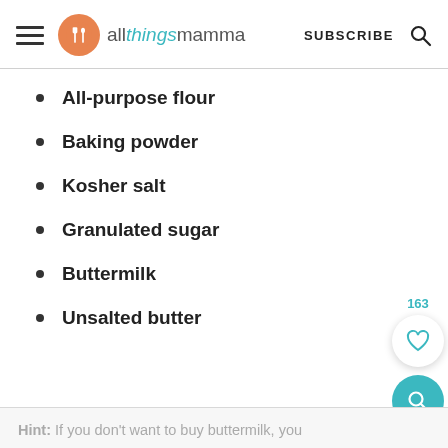allthingsmamma — SUBSCRIBE
All-purpose flour
Baking powder
Kosher salt
Granulated sugar
Buttermilk
Unsalted butter
Hint: If you don't want to buy buttermilk, you